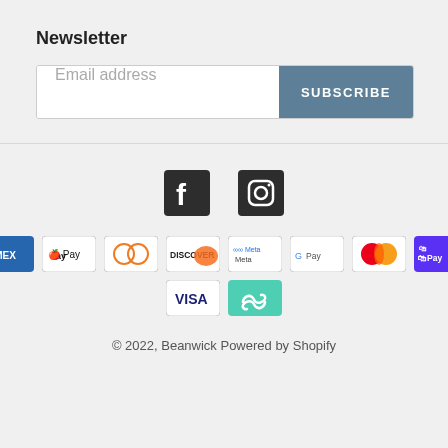Newsletter
Email address
SUBSCRIBE
[Figure (other): Social media icons: Facebook and Instagram]
[Figure (other): Payment method icons: American Express, Apple Pay, Diners Club, Discover, Meta Pay, Google Pay, Mastercard, Shop Pay, Visa, and an affiliate/loop pay icon]
© 2022, Beanwick Powered by Shopify